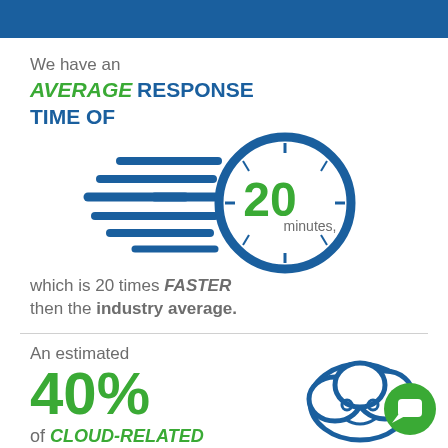We have an AVERAGE RESPONSE TIME OF 20 minutes,
[Figure (infographic): Speedometer/clock icon with speed lines on the left and the number 20 in green inside a blue circular clock face, indicating 20 minutes response time]
which is 20 times FASTER then the industry average.
An estimated
40%
of CLOUD-RELATED
[Figure (infographic): Blue cloud icon with a face and a green chat/message circle button overlapping it in the lower right]